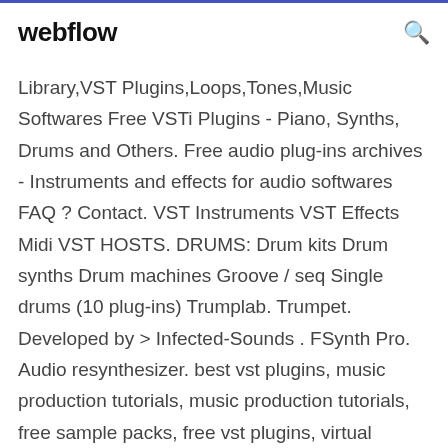webflow
Library,VST Plugins,Loops,Tones,Music Softwares Free VSTi Plugins - Piano, Synths, Drums and Others. Free audio plug-ins archives - Instruments and effects for audio softwares FAQ ? Contact. VST Instruments VST Effects Midi VST HOSTS. DRUMS: Drum kits Drum synths Drum machines Groove / seq Single drums (10 plug-ins) Trumplab. Trumpet. Developed by > Infected-Sounds . FSynth Pro. Audio resynthesizer. best vst plugins, music production tutorials, music production tutorials, free sample packs, free vst plugins, virtual instruments, download vst plugins, best sample packs, loops and samples, music loops, how to make music tutorials, making music